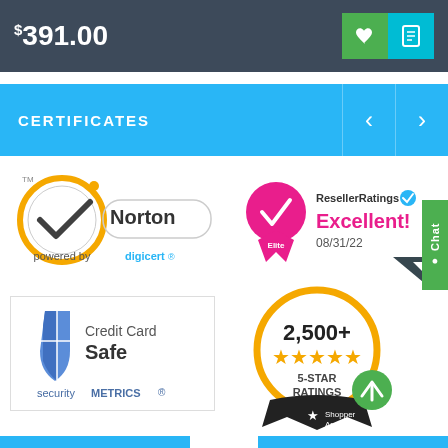$391.00
CERTIFICATES
[Figure (logo): Norton secured badge powered by digicert - yellow circle with checkmark and Norton text]
[Figure (logo): ResellerRatings Elite badge - pink ribbon with checkmark, Excellent! rating dated 08/31/22]
[Figure (logo): SecurityMetrics Credit Card Safe badge - blue shield icon with Credit Card Safe securityMETRICS text]
[Figure (logo): Shopper Approved 2,500+ 5-Star Ratings badge with gold stars and black ribbon]
Chat